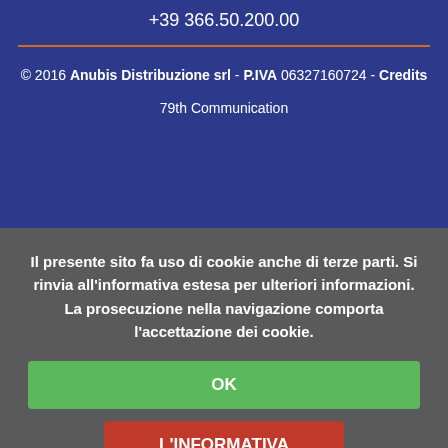+39 366.50.200.00
© 2016 Anubis Distribuzione srl - P.IVA 06327160724 - Credits
79th Communication
Il presente sito fa uso di cookie anche di terze parti. Si rinvia all'informativa estesa per ulteriori informazioni. La prosecuzione nella navigazione comporta l'accettazione dei cookie.
OK
L'INFORMATIVA